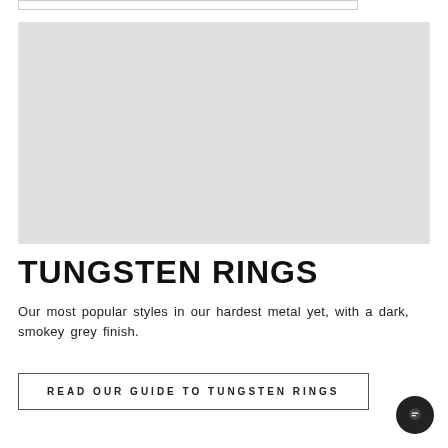[Figure (photo): Large light grey placeholder image area for tungsten rings product photo]
TUNGSTEN RINGS
Our most popular styles in our hardest metal yet, with a dark, smokey grey finish.
READ OUR GUIDE TO TUNGSTEN RINGS